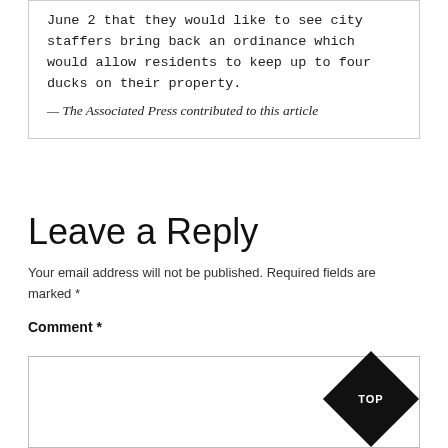June 2 that they would like to see city staffers bring back an ordinance which would allow residents to keep up to four ducks on their property.
— The Associated Press contributed to this article
Leave a Reply
Your email address will not be published. Required fields are marked *
Comment *